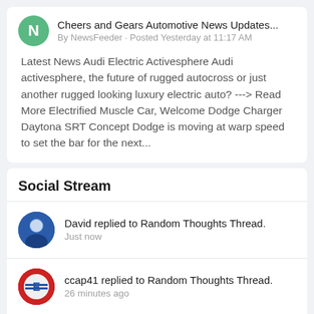Cheers and Gears Automotive News Updates...
By NewsFeeder · Posted Yesterday at 11:17 AM
Latest News Audi Electric Activesphere Audi activesphere, the future of rugged autocross or just another rugged looking luxury electric auto? ---> Read More Electrified Muscle Car, Welcome Dodge Charger Daytona SRT Concept Dodge is moving at warp speed to set the bar for the next...
Social Stream
David replied to Random Thoughts Thread.
Just now
ccap41 replied to Random Thoughts Thread.
26 minutes ago
surreal1272 replied to Random Thoughts Thread.
59 minutes ago